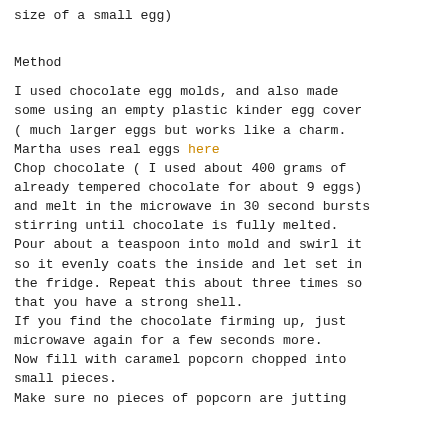size of a small egg)
Method
I used chocolate egg molds, and also made some using an empty plastic kinder egg cover ( much larger eggs but works like a charm. Martha uses real eggs here
Chop chocolate ( I used about 400 grams of already tempered chocolate for about 9 eggs) and melt in the microwave in 30 second bursts stirring until chocolate is fully melted.
Pour about a teaspoon into mold and swirl it so it evenly coats the inside and let set in the fridge. Repeat this about three times so that you have a strong shell.
If you find the chocolate firming up, just microwave again for a few seconds more.
Now fill with caramel popcorn chopped into small pieces.
Make sure no pieces of popcorn are jutting